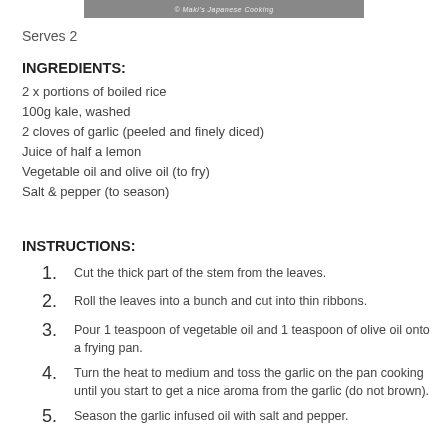[Figure (photo): Header image banner with text '© Maki's Japanese Cooking']
Serves 2
INGREDIENTS:
2 x portions of boiled rice
100g kale, washed
2 cloves of garlic (peeled and finely diced)
Juice of half a lemon
Vegetable oil and olive oil (to fry)
Salt & pepper (to season)
INSTRUCTIONS:
Cut the thick part of the stem from the leaves.
Roll the leaves into a bunch and cut into thin ribbons.
Pour 1 teaspoon of vegetable oil and 1 teaspoon of olive oil onto a frying pan.
Turn the heat to medium and toss the garlic on the pan cooking until you start to get a nice aroma from the garlic (do not brown).
Season the garlic infused oil with salt and pepper.